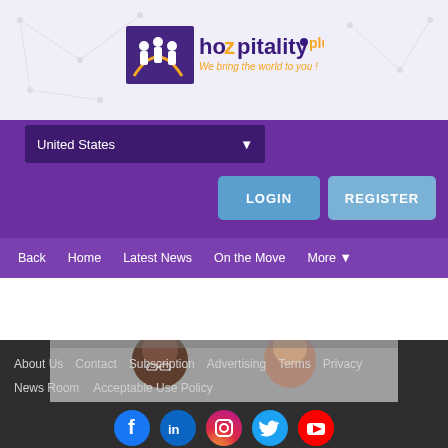[Figure (logo): Hozpitality Plus logo with icon of people and text 'hozpitality plus - We bring the world to you!']
[Figure (screenshot): Website navigation UI: United States dropdown, LOGIN and REGISTER buttons, nav menu with Back, Home, Latest News, On the Move, More]
[Figure (photo): Two men visible from the shoulders up, one Black man with glasses on the left, one white man on the right, in a professional setting]
About Us  Contact  Subscription  Advertising  Terms  Privacy  News Room  Acceptable Use Policy
[Figure (infographic): Social media icons: Facebook, LinkedIn, Instagram, Twitter, YouTube]